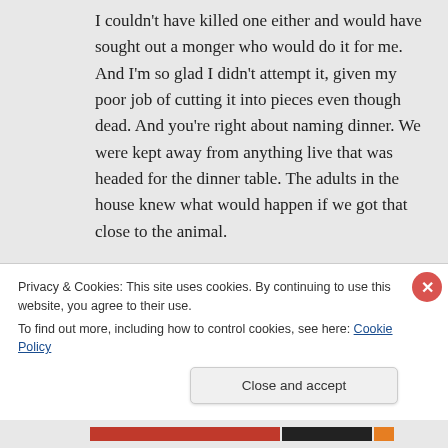I couldn't have killed one either and would have sought out a monger who would do it for me. And I'm so glad I didn't attempt it, given my poor job of cutting it into pieces even though dead. And you're right about naming dinner. We were kept away from anything live that was headed for the dinner table. The adults in the house knew what would happen if we got that close to the animal.
Thanks for the visit and taking the time to
Privacy & Cookies: This site uses cookies. By continuing to use this website, you agree to their use.
To find out more, including how to control cookies, see here: Cookie Policy
Close and accept